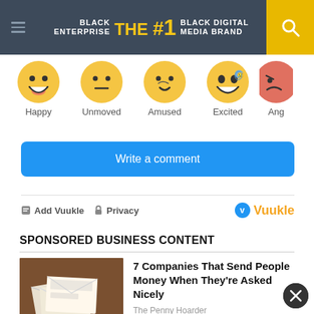BLACK ENTERPRISE THE #1 BLACK DIGITAL MEDIA BRAND
[Figure (illustration): Row of emoji faces: Happy, Unmoved, Amused, Excited, Ang(ry - partially cut off)]
Happy  Unmoved  Amused  Excited  Ang
Write a comment
+ Add Vuukle  🔒 Privacy
Vuukle
SPONSORED BUSINESS CONTENT
7 Companies That Send People Money When They're Asked Nicely
The Penny Hoarder